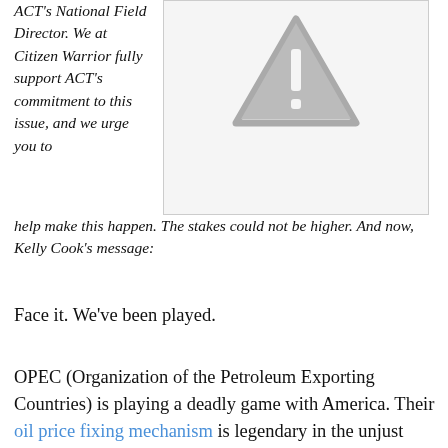ACT's National Field Director. We at Citizen Warrior fully support ACT's commitment to this issue, and we urge you to help make this happen. The stakes could not be higher. And now, Kelly Cook's message:
[Figure (illustration): Warning triangle icon (caution/alert symbol) with exclamation mark, gray colored, inside a light gray bordered box]
Face it. We've been played.
OPEC (Organization of the Petroleum Exporting Countries) is playing a deadly game with America. Their oil price fixing mechanism is legendary in the unjust world of anti-trust